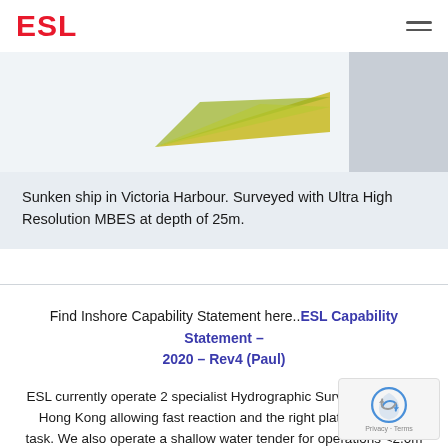ESL
[Figure (photo): Sonar scan image of sunken ship in Victoria Harbour showing a triangular green/yellow sonar data shape on a light blue-grey background]
Sunken ship in Victoria Harbour. Surveyed with Ultra High Resolution MBES at depth of 25m.
Find Inshore Capability Statement here..ESL Capability Statement – 2020 – Rev4 (Paul)
ESL currently operate 2 specialist Hydrographic Survey Vessels in Hong Kong allowing fast reaction and the right platform for the task. We also operate a shallow water tender for operations <2.0m depth.